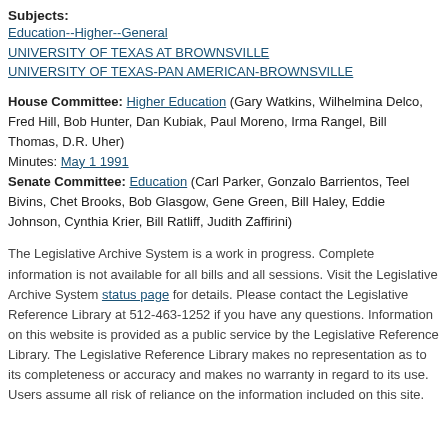Subjects:
Education--Higher--General
UNIVERSITY OF TEXAS AT BROWNSVILLE
UNIVERSITY OF TEXAS-PAN AMERICAN-BROWNSVILLE
House Committee: Higher Education (Gary Watkins, Wilhelmina Delco, Fred Hill, Bob Hunter, Dan Kubiak, Paul Moreno, Irma Rangel, Bill Thomas, D.R. Uher)
Minutes: May 1 1991
Senate Committee: Education (Carl Parker, Gonzalo Barrientos, Teel Bivins, Chet Brooks, Bob Glasgow, Gene Green, Bill Haley, Eddie Johnson, Cynthia Krier, Bill Ratliff, Judith Zaffirini)
The Legislative Archive System is a work in progress. Complete information is not available for all bills and all sessions. Visit the Legislative Archive System status page for details. Please contact the Legislative Reference Library at 512-463-1252 if you have any questions. Information on this website is provided as a public service by the Legislative Reference Library. The Legislative Reference Library makes no representation as to its completeness or accuracy and makes no warranty in regard to its use. Users assume all risk of reliance on the information included on this site.